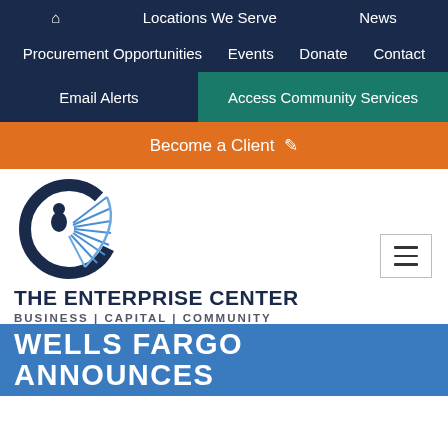🏠  Locations We Serve  News
Procurement Opportunities  Events  Donate  Contact
Email Alerts  Access Community Services
Become a Client ✏
[Figure (logo): The Enterprise Center logo — circular dark navy emblem with a person figure and blue leaf/wing shapes]
THE ENTERPRISE CENTER
BUSINESS | CAPITAL | COMMUNITY
WELLS FARGO ANNOUNCES